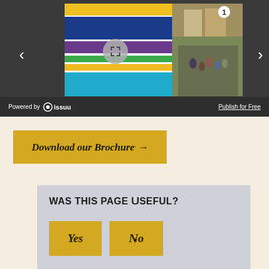[Figure (screenshot): Issuu document viewer showing a KIT brochure with colorful sections and a photo of students on steps of a building. Navigation arrows on left and right. Powered by Issuu bar at bottom with Publish for Free link.]
Powered by issuu
Publish for Free
Download our Brochure →
WAS THIS PAGE USEFUL?
Yes
No